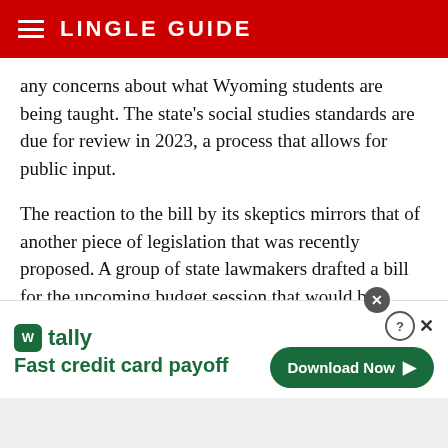LINGLE GUIDE
any concerns about what Wyoming students are being taught. The state's social studies standards are due for review in 2023, a process that allows for public input.
The reaction to the bill by its skeptics mirrors that of another piece of legislation that was recently proposed. A group of state lawmakers drafted a bill for the upcoming budget session that would bar transgender women and girls in Wyoming from participating in high school and collegiate sports that match their gender identity
[Figure (screenshot): Advertisement banner for Tally app: 'Fast credit card payoff' with a Download Now button and close controls.]